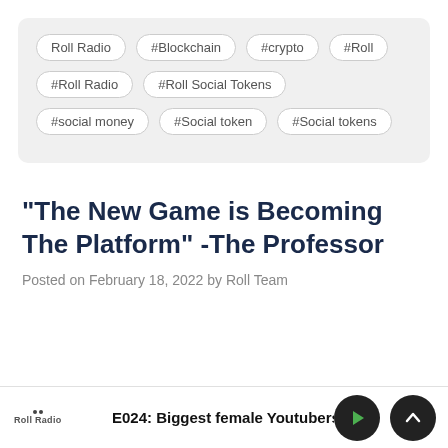Roll Radio
#Blockchain
#crypto
#Roll
#Roll Radio
#Roll Social Tokens
#social money
#Social token
#Social tokens
“The New Game is Becoming The Platform” -The Professor
Posted on February 18, 2022 by Roll Team
E024: Biggest female Youtubers in th